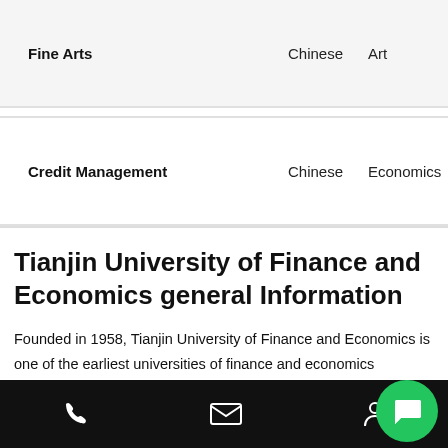| Program | Language | Category | Duration |
| --- | --- | --- | --- |
| Fine Arts | Chinese | Art | 4 Years
Years |
| Credit Management | Chinese | Economics | 4 Years
Years |
Tianjin University of Finance and Economics general Information
Founded in 1958, Tianjin University of Finance and Economics is one of the earliest universities of finance and economics established in New China. It is based on the economics and management major of Nankai University, and brings together a group of renowned experts and scholars in the field of economics and management fr...